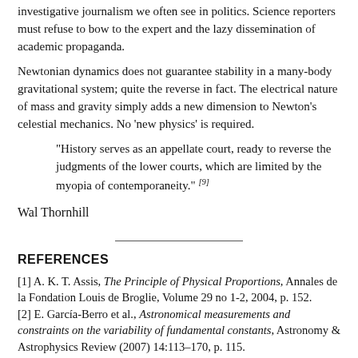investigative journalism we often see in politics. Science reporters must refuse to bow to the expert and the lazy dissemination of academic propaganda.
Newtonian dynamics does not guarantee stability in a many-body gravitational system; quite the reverse in fact. The electrical nature of mass and gravity simply adds a new dimension to Newton’s celestial mechanics. No ‘new physics’ is required.
“History serves as an appellate court, ready to reverse the judgments of the lower courts, which are limited by the myopia of contemporaneity.” [9]
Wal Thornhill
REFERENCES
[1] A. K. T. Assis, The Principle of Physical Proportions, Annales de la Fondation Louis de Broglie, Volume 29 no 1-2, 2004, p. 152.
[2] E. García-Berro et al., Astronomical measurements and constraints on the variability of fundamental constants, Astronomy & Astrophysics Review (2007) 14:113–170, p. 115.
[3] Earth’s magnetic field ‘boosts gravity’ New Scientist, 22 September 2002, “Newton’s constant, which describes the strength of the gravitational pull that bodies exert on each other, is the most